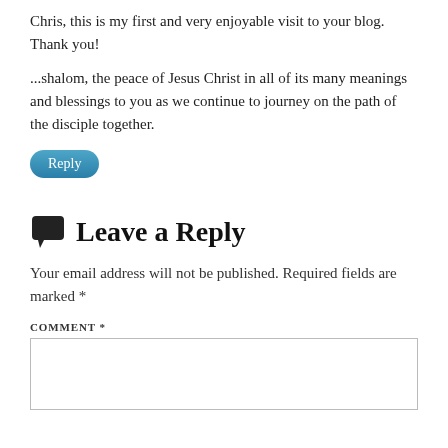Chris, this is my first and very enjoyable visit to your blog. Thank you!
...shalom, the peace of Jesus Christ in all of its many meanings and blessings to you as we continue to journey on the path of the disciple together.
Reply
Leave a Reply
Your email address will not be published. Required fields are marked *
COMMENT *